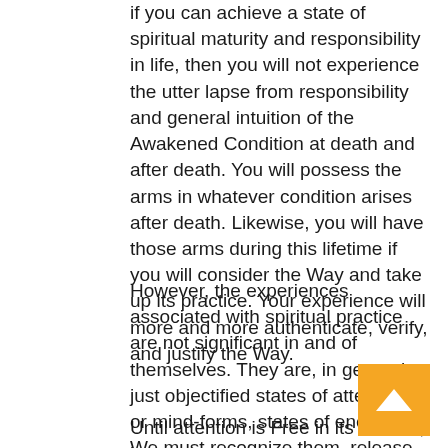if you can achieve a state of spiritual maturity and responsibility in life, then you will not experience the utter lapse from responsibility and general intuition of the Awakened Condition at death and after death. You will possess the arms in whatever condition arises after death. Likewise, you will have those arms during this lifetime if you will consider the Way and take up its practice. Your experience will more and more authenticate, verify, and justify the Way.
However, the experiences associated with spiritual practice are not significant in and of themselves. They are, in general, just objectified states of attention, or mind-forms, states of energy. We must recognize them, release them, and move beyond them.
Until attention is Free in its Source, it cannot